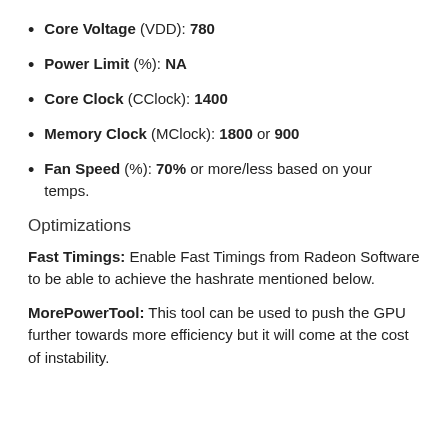Core Voltage (VDD): 780
Power Limit (%): NA
Core Clock (CClock): 1400
Memory Clock (MClock): 1800 or 900
Fan Speed (%): 70% or more/less based on your temps.
Optimizations
Fast Timings: Enable Fast Timings from Radeon Software to be able to achieve the hashrate mentioned below.
MorePowerTool: This tool can be used to push the GPU further towards more efficiency but it will come at the cost of instability.